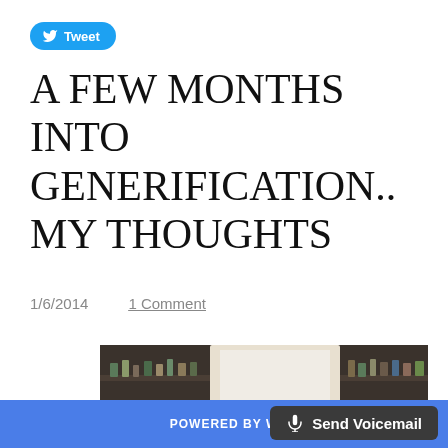[Figure (other): Twitter Tweet button with bird icon on cyan/blue rounded pill background]
A FEW MONTHS INTO GENERIFICATION.. MY THOUGHTS
1/6/2014    1 Comment
[Figure (photo): Indoor bar or kitchen scene with colorful large letters spelling BEAR in foreground, dimly lit shelving and bar equipment in background]
POWERED BY W    🎤 Send Voicemail